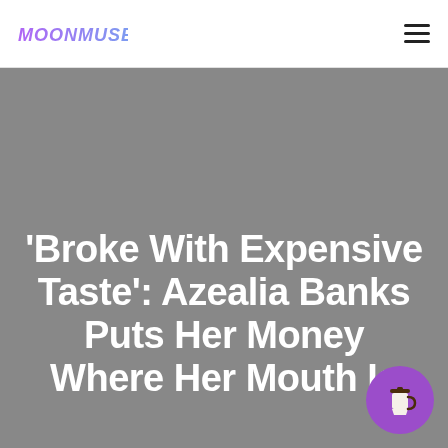MOONMUSE
[Figure (photo): Gray hero image background behind article headline]
'Broke With Expensive Taste': Azealia Banks Puts Her Money Where Her Mouth Is